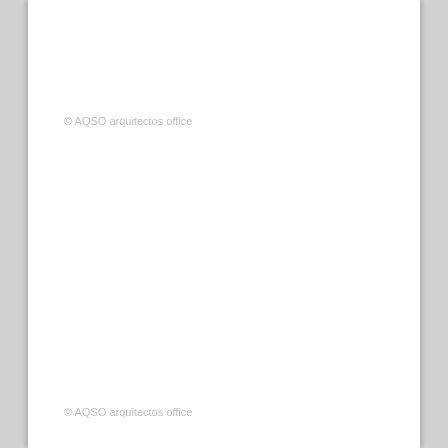© AQSO arquitectos office
© AQSO arquitectos office